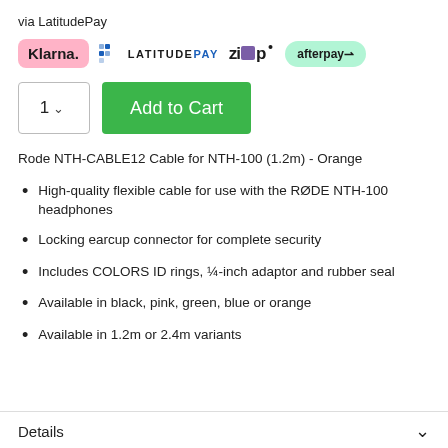via LatitudePay
[Figure (logo): Payment logos: Klarna, LatitudePay, Zip, Afterpay]
[Figure (other): Quantity selector showing '1' with dropdown arrow and green 'Add to Cart' button]
Rode NTH-CABLE12 Cable for NTH-100 (1.2m) - Orange
High-quality flexible cable for use with the RØDE NTH-100 headphones
Locking earcup connector for complete security
Includes COLORS ID rings, ¼-inch adaptor and rubber seal
Available in black, pink, green, blue or orange
Available in 1.2m or 2.4m variants
Details